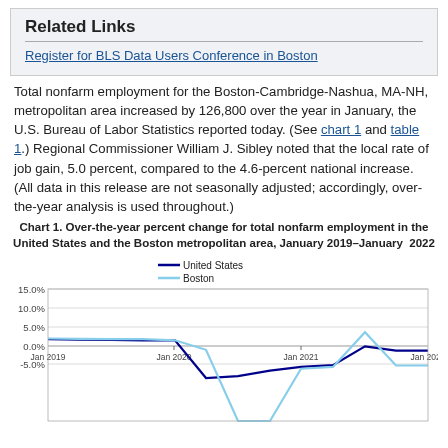Related Links
Register for BLS Data Users Conference in Boston
Total nonfarm employment for the Boston-Cambridge-Nashua, MA-NH, metropolitan area increased by 126,800 over the year in January, the U.S. Bureau of Labor Statistics reported today. (See chart 1 and table 1.) Regional Commissioner William J. Sibley noted that the local rate of job gain, 5.0 percent, compared to the 4.6-percent national increase. (All data in this release are not seasonally adjusted; accordingly, over-the-year analysis is used throughout.)
[Figure (line-chart): Chart 1. Over-the-year percent change for total nonfarm employment in the United States and the Boston metropolitan area, January 2019–January 2022]